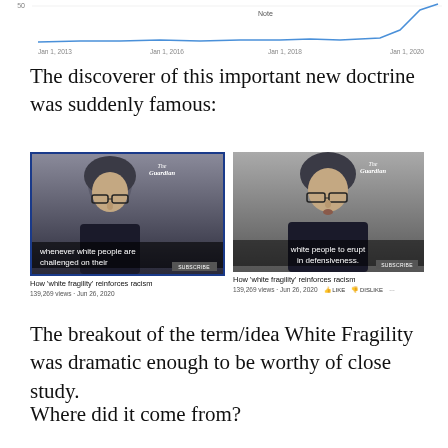[Figure (continuous-plot): Partial line chart (top portion clipped) showing trend data over time from Jan 1, 2013 to Jan 1, 2020, with a dramatic spike near Jan 1, 2020. Label 'Note' visible near top.]
The discoverer of this important new doctrine was suddenly famous:
[Figure (screenshot): Two YouTube video thumbnails side by side, both from The Guardian, titled 'How white fragility reinforces racism', 139,269 views, Jun 26, 2020. Left thumbnail shows a woman speaking with subtitle 'whenever white people are challenged on their'. Right thumbnail shows same woman with subtitle 'white people to erupt in defensiveness.']
The breakout of the term/idea White Fragility was dramatic enough to be worthy of close study.
Where did it come from?